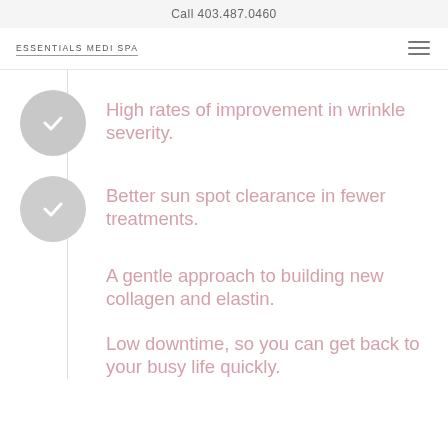Call 403.487.0460
[Figure (logo): Essentials Medi Spa logo text with underline and hamburger menu icon]
High rates of improvement in wrinkle severity.
Better sun spot clearance in fewer treatments.
A gentle approach to building new collagen and elastin.
Low downtime, so you can get back to your busy life quickly.